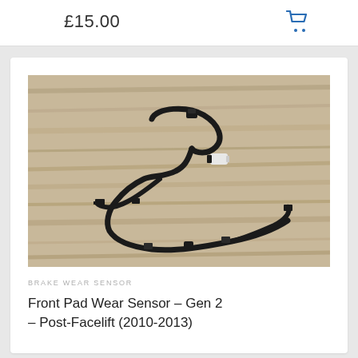£15.00
[Figure (photo): A black brake pad wear sensor with wiring harness and white connector, photographed on a wooden surface.]
BRAKE WEAR SENSOR
Front Pad Wear Sensor – Gen 2 – Post-Facelift (2010-2013)